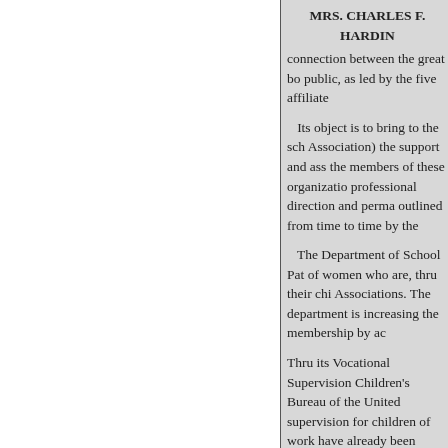MRS. CHARLES F. HARDIN connection between the great bo public, as led by the five affiliate
Its object is to bring to the sch Association) the support and ass the members of these organizatio professional direction and perma outlined from time to time by the
The Department of School Pat of women who are, thru their chi Associations. The department is increasing the membership by ac
Thru its Vocational Supervision Children's Bureau of the United supervision for children of work have already been obtained. The for definite and valuable service
Thru its School Health Committe Association and the American M States the health charts and othe under the guidance of Dr. Thom